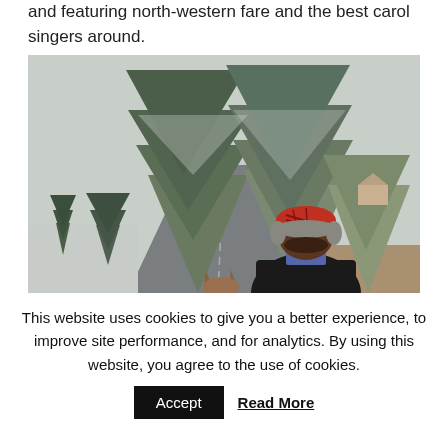and featuring north-western fare and the best carol singers around.
[Figure (photo): View from behind a person wearing a red plaid fur-lined hat riding a horse down a road lined with large snow-dusted evergreen trees in a winter landscape.]
This website uses cookies to give you a better experience, to improve site performance, and for analytics. By using this website, you agree to the use of cookies.
Accept   Read More